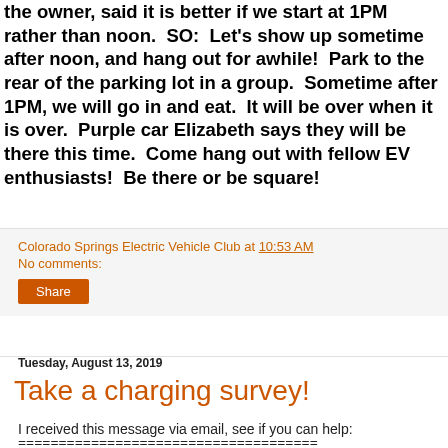the owner, said it is better if we start at 1PM rather than noon.  SO:  Let's show up sometime after noon, and hang out for awhile!  Park to the rear of the parking lot in a group.  Sometime after 1PM, we will go in and eat.  It will be over when it is over.  Purple car Elizabeth says they will be there this time.  Come hang out with fellow EV enthusiasts!  Be there or be square!
Colorado Springs Electric Vehicle Club at 10:53 AM
No comments:
Share
Tuesday, August 13, 2019
Take a charging survey!
I received this message via email, see if you can help:
=====================================
To the Colorado Springs EV Club: